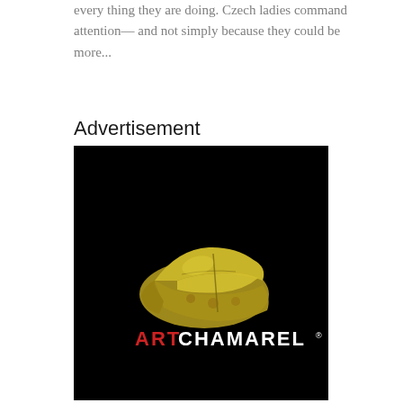every thing they are doing. Czech ladies command attention— and not simply because they could be more...
Advertisement
[Figure (logo): Art Chamarel logo on black background: a golden/yellow sculptural shoe form above the text 'ARTCHAMAREL' with 'ART' in red and 'CHAMAREL' in white, with a registered trademark symbol.]